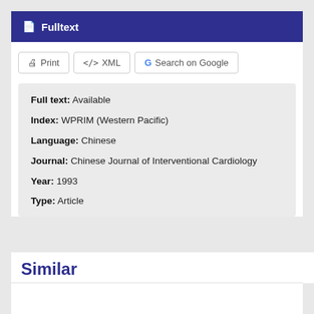Fulltext
Print | XML | Search on Google
Full text: Available
Index: WPRIM (Western Pacific)
Language: Chinese
Journal: Chinese Journal of Interventional Cardiology
Year: 1993
Type: Article
Similar